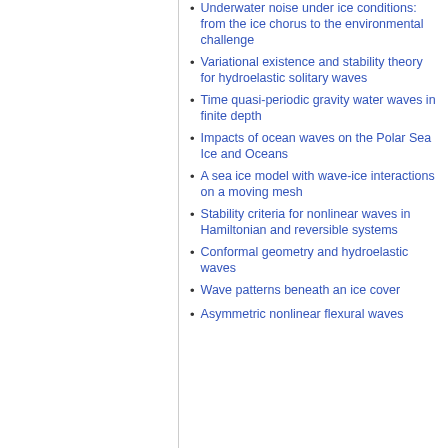Underwater noise under ice conditions: from the ice chorus to the environmental challenge
Variational existence and stability theory for hydroelastic solitary waves
Time quasi-periodic gravity water waves in finite depth
Impacts of ocean waves on the Polar Sea Ice and Oceans
A sea ice model with wave-ice interactions on a moving mesh
Stability criteria for nonlinear waves in Hamiltonian and reversible systems
Conformal geometry and hydroelastic waves
Wave patterns beneath an ice cover
Asymmetric nonlinear flexural waves